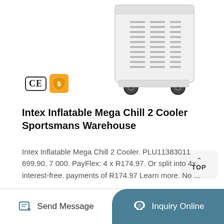[Figure (photo): Intex Inflatable Mega Chill 2 Cooler product image showing a white box-shaped cooler on wheels with ventilation grilles, partially cropped at top. CE mark and gold supplier badge icons visible bottom-left of image area.]
Intex Inflatable Mega Chill 2 Cooler Sportsmans Warehouse
Intex Inflatable Mega Chill 2 Cooler. PLU11383011 699.90. 7 000. PayFlex: 4 x R174.97. Or split into 4x interest-free. payments of R174.97 Learn more. No ...
Get More →
Send Message
Inquiry Online